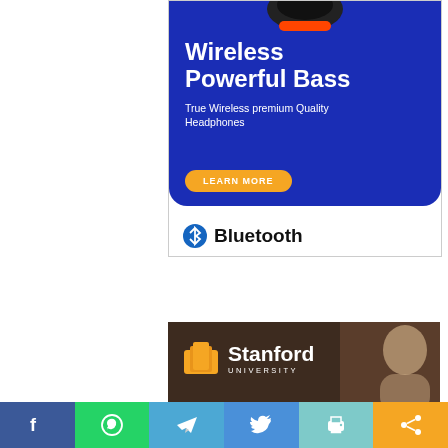[Figure (illustration): Advertisement banner for Bluetooth wireless headphones on a dark blue background. Text reads 'Wireless Powerful Bass' with subtitle 'True Wireless premium Quality Headphones' and an orange 'LEARN MORE' button. Bluetooth logo and text at the bottom.]
[Figure (illustration): Stanford University advertisement banner with brown background, orange book logo, 'Stanford UNIVERSITY' text, and a partial photo of a person.]
[Figure (illustration): Social sharing bar at the bottom with six icons: Facebook (blue), WhatsApp (green), Telegram (light blue), Twitter (blue), Print (teal), Share (orange).]